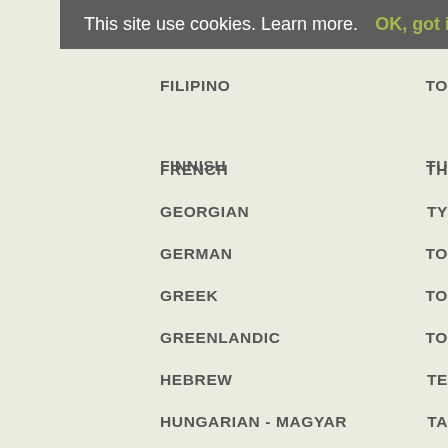This site use cookies. Learn more. OK, got it!
FILIPINO
FINNISH
FRENCH
GEORGIAN
GERMAN
GREEK
GREENLANDIC
HEBREW
HUNGARIAN - MAGYAR
ICELANDIC
INDIAN - HINDI
IRISH
ITALIAN
LATIN
LATVIAN
LITHUANIAN
MACEDONIAN